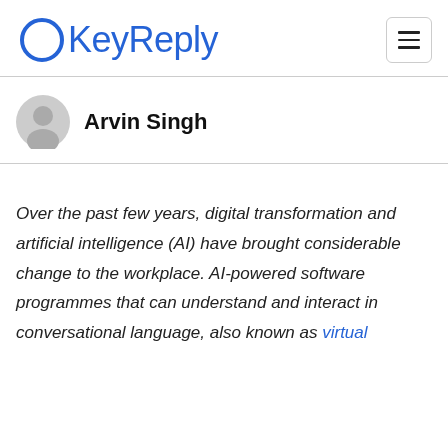KeyReply
Arvin Singh
Over the past few years, digital transformation and artificial intelligence (AI) have brought considerable change to the workplace. AI-powered software programmes that can understand and interact in conversational language, also known as virtual